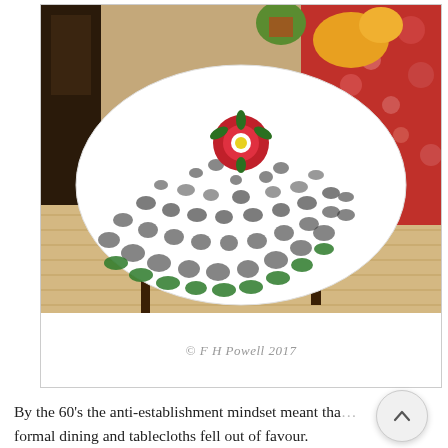[Figure (photo): A white crocheted tablecloth with a red flower motif in the center and green edging, draped over a round table. Decorative items visible on the table top. Floral wallpaper in background.]
© F H Powell 2017
By the 60's the anti-establishment mindset meant that formal dining and tablecloths fell out of favour.